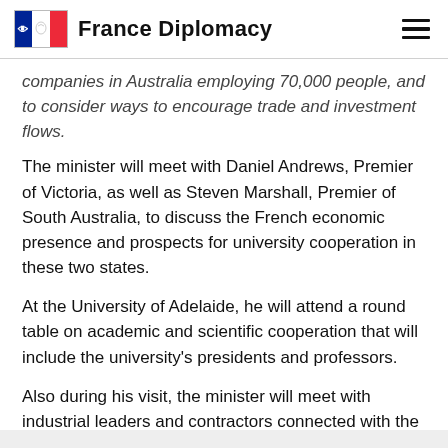France Diplomacy
companies in Australia employing 70,000 people, and to consider ways to encourage trade and investment flows.
The minister will meet with Daniel Andrews, Premier of Victoria, as well as Steven Marshall, Premier of South Australia, to discuss the French economic presence and prospects for university cooperation in these two states.
At the University of Adelaide, he will attend a round table on academic and scientific cooperation that will include the university's presidents and professors.
Also during his visit, the minister will meet with industrial leaders and contractors connected with the Future Submarine Program.